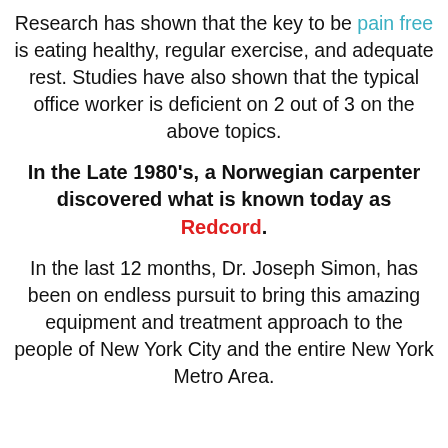Research has shown that the key to be pain free is eating healthy, regular exercise, and adequate rest. Studies have also shown that the typical office worker is deficient on 2 out of 3 on the above topics.
In the Late 1980's, a Norwegian carpenter discovered what is known today as Redcord.
In the last 12 months, Dr. Joseph Simon, has been on endless pursuit to bring this amazing equipment and treatment approach to the people of New York City and the entire New York Metro Area.